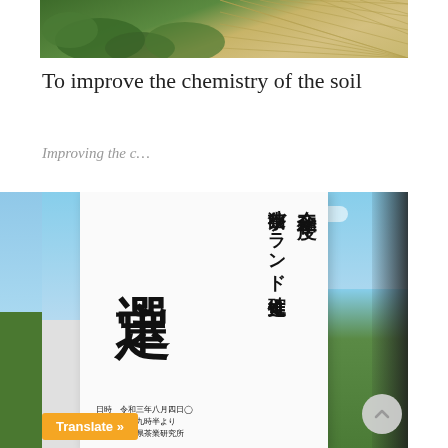[Figure (photo): Close-up photo of plants and a grid/mesh structure, possibly a tea farm or garden with a wire trellis]
To improve the chemistry of the soil
Improving the c…
[Figure (photo): Photo of a Japanese sign/notice board for 令和三年度 狭山茶ブランド確立推進 選定会. The sign contains event details: 日時 令和三年八月四日 時間 午前九時半より 会場 埼玉県茶業研究所]
Translate »